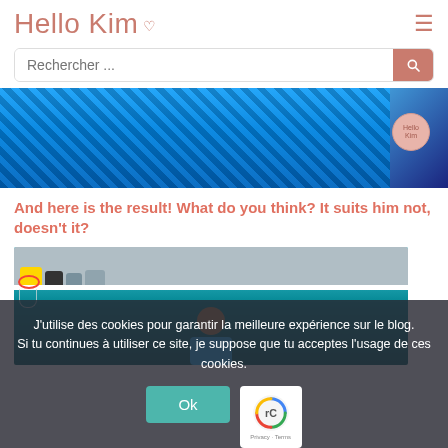Hello Kim ♡
Rechercher ...
[Figure (photo): Close-up photo of teal/blue chunky knitted fabric with a round Hello Kim blog badge in the upper right corner]
And here is the result! What do you think? It suits him not, doesn't it?
[Figure (photo): Photo of a person wearing a teal knitted scarf, standing in a room with shelves holding hats and a basketball hoop visible on the left]
J'utilise des cookies pour garantir la meilleure expérience sur le blog. Si tu continues à utiliser ce site, je suppose que tu acceptes l'usage de ces cookies.
Ok